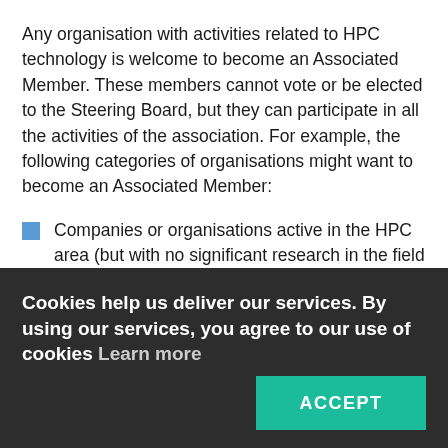Any organisation with activities related to HPC technology is welcome to become an Associated Member. These members cannot vote or be elected to the Steering Board, but they can participate in all the activities of the association. For example, the following categories of organisations might want to become an Associated Member:
Companies or organisations active in the HPC area (but with no significant research in the field of HPC technology)
Cookies help us deliver our services. By using our services, you agree to our use of cookies Learn more
ACCEPT